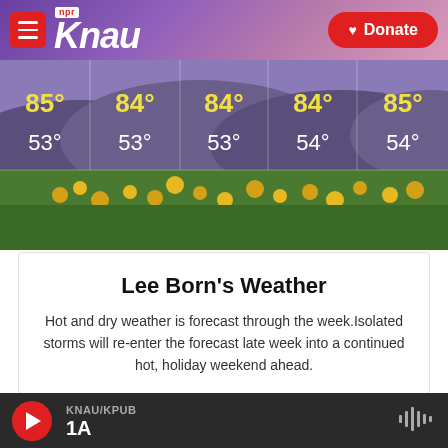KNAU NPR — Donate
[Figure (photo): Weather forecast image showing wildflower meadow with temperature readings: high 85°, low 53°; high 84°, low 53°; high 84°, low 53°; high 84°, low 54°; high 85°, low 54°]
Lee Born's Weather
Hot and dry weather is forecast through the week.Isolated storms will re-enter the forecast late week into a continued hot, holiday weekend ahead.
[Figure (photo): Partial bottom image strip showing trees/nature scene]
KNAU/KPUB  1A